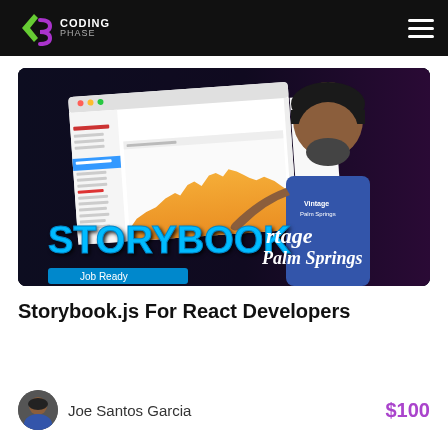Coding Phase
[Figure (screenshot): Course thumbnail showing a Storybook UI dashboard on a laptop screen with the word STORYBOOK in large blue text and a man in a blue t-shirt pointing at it. Text reads 'Job Ready' at the bottom.]
Storybook.js For React Developers
Joe Santos Garcia  $100